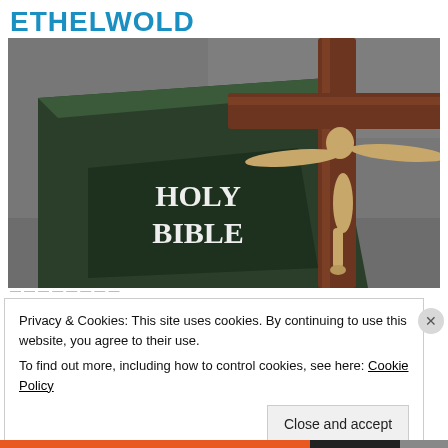ETHELWOLD
[Figure (photo): A Holy Bible book with a wooden crucifix featuring a golden corpus of Jesus Christ, placed on a gray stone background.]
Privacy & Cookies: This site uses cookies. By continuing to use this website, you agree to their use.
To find out more, including how to control cookies, see here: Cookie Policy
Close and accept